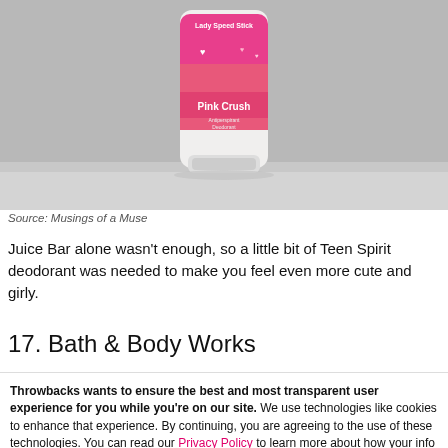[Figure (photo): Lady Speed Stick Pink Crush antiperspirant deodorant product photo on gray background]
Source: Musings of a Muse
Juice Bar alone wasn't enough, so a little bit of Teen Spirit deodorant was needed to make you feel even more cute and girly.
17. Bath & Body Works
Throwbacks wants to ensure the best and most transparent user experience for you while you're on our site. We use technologies like cookies to enhance that experience. By continuing, you are agreeing to the use of these technologies. You can read our Privacy Policy to learn more about how your info is used.
I AGREE, LET'S GO!